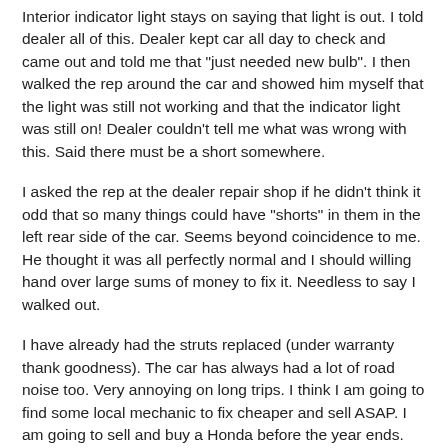Interior indicator light stays on saying that light is out. I told dealer all of this. Dealer kept car all day to check and came out and told me that "just needed new bulb". I then walked the rep around the car and showed him myself that the light was still not working and that the indicator light was still on! Dealer couldn't tell me what was wrong with this. Said there must be a short somewhere.
I asked the rep at the dealer repair shop if he didn't think it odd that so many things could have "shorts" in them in the left rear side of the car. Seems beyond coincidence to me. He thought it was all perfectly normal and I should willing hand over large sums of money to fix it. Needless to say I walked out.
I have already had the struts replaced (under warranty thank goodness). The car has always had a lot of road noise too. Very annoying on long trips. I think I am going to find some local mechanic to fix cheaper and sell ASAP. I am going to sell and buy a Honda before the year ends. My last car was a Honda and never had any problems.